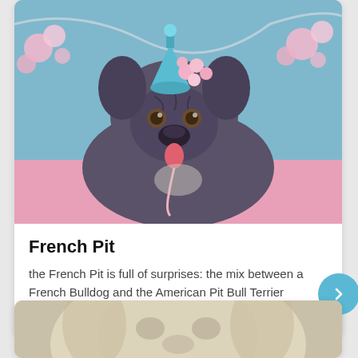[Figure (photo): A dark gray/blue brindle dog (French Pit - French Bulldog and Pit Bull mix) wearing a pink flower crown and teal hat, lying on a pink fluffy surface with a light blue background and pink floral decorations, holding a pink ribbon in its mouth.]
French Pit
the French Pit is full of surprises: the mix between a French Bulldog and the American Pit Bull Terrier proved to be a match made in heaven!
[Figure (photo): A close-up photo of a light-colored (white/cream) dog's face, partially cropped at the bottom of the page.]